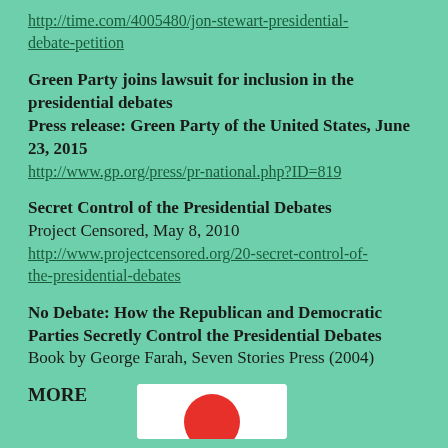http://time.com/4005480/jon-stewart-presidential-debate-petition
Green Party joins lawsuit for inclusion in the presidential debates
Press release: Green Party of the United States, June 23, 2015
http://www.gp.org/press/pr-national.php?ID=819
Secret Control of the Presidential Debates
Project Censored, May 8, 2010
http://www.projectcensored.org/20-secret-control-of-the-presidential-debates
No Debate: How the Republican and Democratic Parties Secretly Control the Presidential Debates
Book by George Farah, Seven Stories Press (2004)
MORE
[Figure (photo): Partial image visible at bottom right, appears to show a logo or graphic with red element on white background]